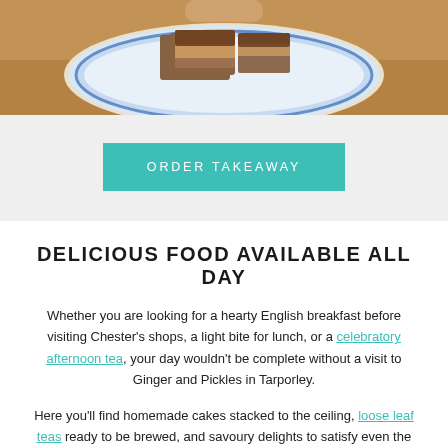[Figure (photo): Photo of food on a decorative blue and white plate, held by a person, cropped at top of page]
ORDER TAKEAWAY
DELICIOUS FOOD AVAILABLE ALL DAY
Whether you are looking for a hearty English breakfast before visiting Chester's shops, a light bite for lunch, or a celebratory afternoon tea, your day wouldn't be complete without a visit to Ginger and Pickles in Tarporley.
Here you'll find homemade cakes stacked to the ceiling, loose leaf teas ready to be brewed, and savoury delights to satisfy even the most talented tastebuds.